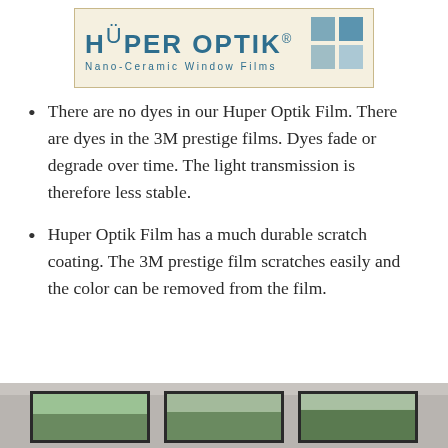[Figure (logo): Hüper Optik Nano-Ceramic Window Films logo with teal text and window icon on cream background]
There are no dyes in our Huper Optik Film. There are dyes in the 3M prestige films. Dyes fade or degrade over time. The light transmission is therefore less stable.
Huper Optik Film has a much durable scratch coating. The 3M prestige film scratches easily and the color can be removed from the film.
[Figure (photo): Photo of windows with dark frames viewed from interior, showing outdoor greenery through the glass.]